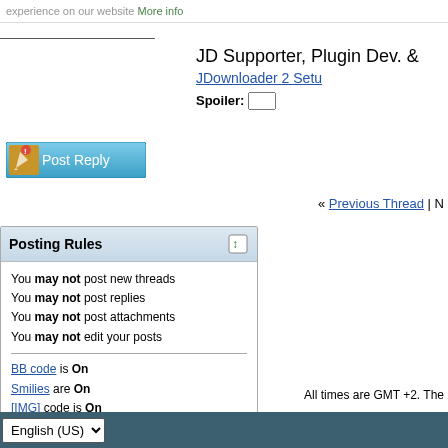experience on our website More info
JD Supporter, Plugin Dev. &
JDownloader 2 Setu
Spoiler: s
[Figure (screenshot): Post Reply button with pencil icon]
« Previous Thread | N
Posting Rules
You may not post new threads
You may not post replies
You may not post attachments
You may not edit your posts
BB code is On
Smilies are On
[IMG] code is On
HTML code is Off
Forum Rules
All times are GMT +2. The
English (US)